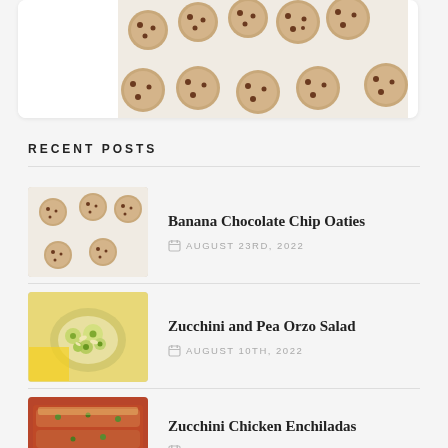[Figure (photo): Top portion of a card showing chocolate chip oatmeal cookies arranged on white parchment paper, viewed from above]
RECENT POSTS
[Figure (photo): Thumbnail of Banana Chocolate Chip Oaties - cookies on a baking sheet]
Banana Chocolate Chip Oaties
AUGUST 23RD, 2022
[Figure (photo): Thumbnail of Zucchini and Pea Orzo Salad in a bowl]
Zucchini and Pea Orzo Salad
AUGUST 10TH, 2022
[Figure (photo): Thumbnail of Zucchini Chicken Enchiladas in a baking dish]
Zucchini Chicken Enchiladas